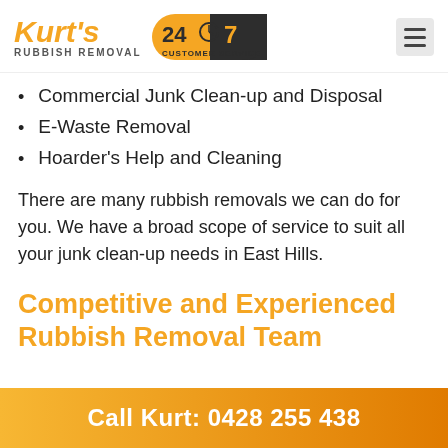Kurt's Rubbish Removal — 24/7 Customer Service
Commercial Junk Clean-up and Disposal
E-Waste Removal
Hoarder's Help and Cleaning
There are many rubbish removals we can do for you. We have a broad scope of service to suit all your junk clean-up needs in East Hills.
Competitive and Experienced Rubbish Removal Team
Call Kurt: 0428 255 438